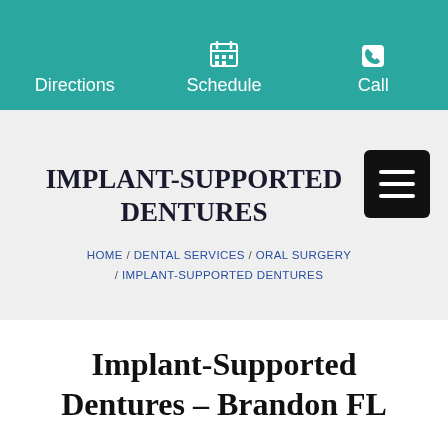Directions   Schedule   Call
IMPLANT-SUPPORTED DENTURES
HOME / DENTAL SERVICES / ORAL SURGERY / IMPLANT-SUPPORTED DENTURES
Implant-Supported Dentures – Brandon FL